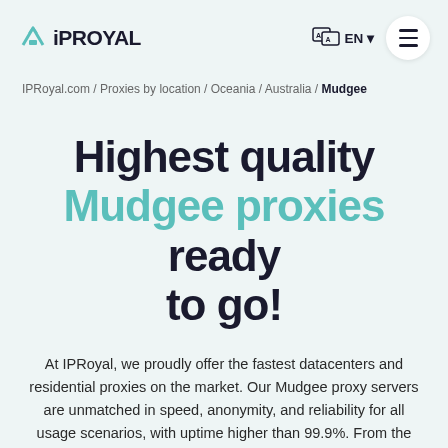IPROYAL | EN ▾
IPRoyal.com / Proxies by location / Oceania / Australia / Mudgee
Highest quality Mudgee proxies ready to go!
At IPRoyal, we proudly offer the fastest datacenters and residential proxies on the market. Our Mudgee proxy servers are unmatched in speed, anonymity, and reliability for all usage scenarios, with uptime higher than 99.9%. From the world-class IPRoyal...